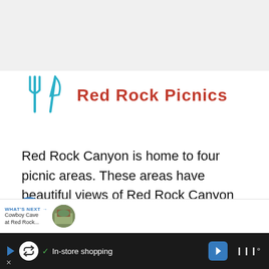[Figure (logo): Crossed fork and knife icon in teal/cyan color, serving as the Red Rock Picnics logo]
Red Rock Picnics
Red Rock Canyon is home to four picnic areas. These areas have beautiful views of Red Rock Canyon and access to some easier trails. All picnic areas are on a first-come, first-serve basis except for the Red Rock group use area, and groups larger than 15 people may need to obtain a p...